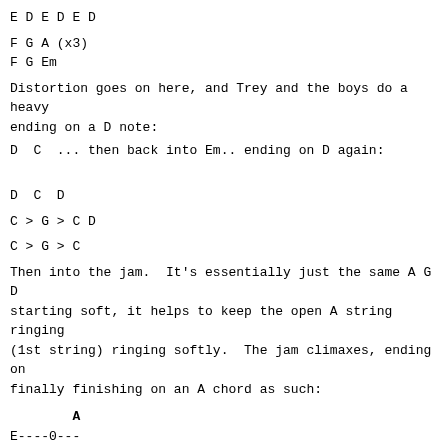E D E D E D
F G A (x3)
F G Em
Distortion goes on here, and Trey and the boys do a heavy ending on a D note:
D  C  ... then back into Em.. ending on D again:
D  C  D
C > G > C D
C > G > C
Then into the jam.  It's essentially just the same A G D starting soft, it helps to keep the open A string ringing (1st string) ringing softly.  The jam climaxes, ending on finally finishing on an A chord as such:
A
E----0---
B----0---
G----6---
D----7---
A----0---
E----0---